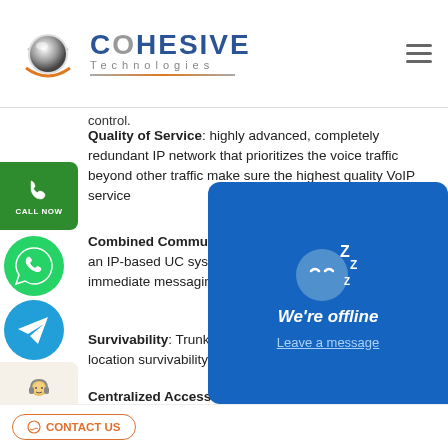[Figure (logo): Cohesive Technologies logo with sphere icon and blue text]
control.
Quality of Service: highly advanced, completely redundant IP network that prioritizes the voice traffic beyond other traffic make sure the highest quality VoIP service
Combined Communications: offers a gateway to making an IP-based UC system—calling mutually voice, data, immediate messaging and request sharing
Survivability: Trunk-to-trunk run over allows for multi-location survivability
Centralized Access: Lets from a single site that services remote...have their phone tools hosted...center.
Opt for Cohesive Technologies at your trade locations and with having sharing access b...
[Figure (infographic): Blue popup chat widget showing sleeping face emoji with ZZZ, text 'We're offline' and 'Leave a message' link]
CONTACT US